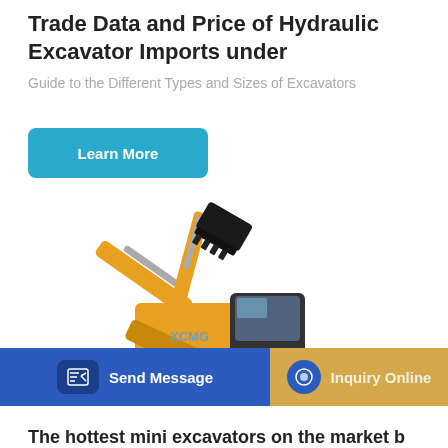Trade Data and Price of Hydraulic Excavator Imports under
Guide to the Different Types and Sizes of Excavators
Learn More
[Figure (photo): Yellow XCMG hydraulic excavator on white background, side view showing boom, arm, bucket, cab, and tracks.]
Send Message
Inquiry Online
The hottest mini excavators on the market b